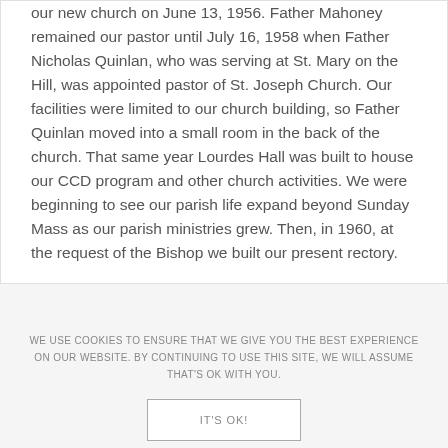our new church on June 13, 1956. Father Mahoney remained our pastor until July 16, 1958 when Father Nicholas Quinlan, who was serving at St. Mary on the Hill, was appointed pastor of St. Joseph Church. Our facilities were limited to our church building, so Father Quinlan moved into a small room in the back of the church. That same year Lourdes Hall was built to house our CCD program and other church activities. We were beginning to see our parish life expand beyond Sunday Mass as our parish ministries grew. Then, in 1960, at the request of the Bishop we built our present rectory.
WE USE COOKIES TO ENSURE THAT WE GIVE YOU THE BEST EXPERIENCE ON OUR WEBSITE. BY CONTINUING TO USE THIS SITE, WE WILL ASSUME THAT'S OK WITH YOU.
IT'S OK!